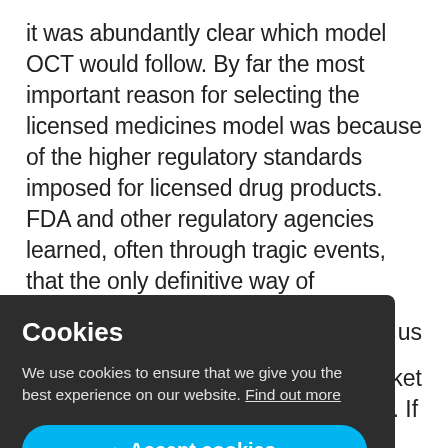it was abundantly clear which model OCT would follow. By far the most important reason for selecting the licensed medicines model was because of the higher regulatory standards imposed for licensed drug products. FDA and other regulatory agencies learned, often through tragic events, that the only definitive way of demonstrating a drug product is both safe and effective is through rigorous preclinical testing and randomised controlled clinical trials. We were adamant ... have ... are both ... a quality
Cookies
We use cookies to ensure that we give you the best experience on our website. Find out more
[Accept cookies button]
obvious to us to market was the right choice for OCT to take. If you